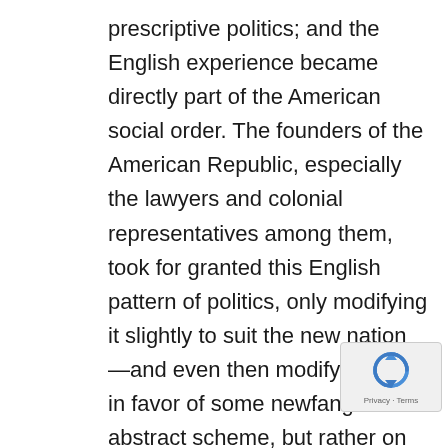prescriptive politics; and the English experience became directly part of the American social order. The founders of the American Republic, especially the lawyers and colonial representatives among them, took for granted this English pattern of politics, only modifying it slightly to suit the new nation—and even then modifying it not in favor of some newfangled abstract scheme, but rather on the model of the Roman Republic. So America has in common with Europe a coherent legacy of justice and order and freedom, a balancing of things public and things private, derived from Greek and Roman philosophy, Roman jurisprudence, Judaic moral law, and the
[Figure (other): Google reCAPTCHA badge with rotating arrows icon and 'Privacy - Terms' text]